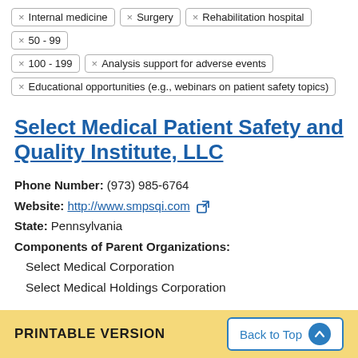× Internal medicine
× Surgery
× Rehabilitation hospital
× 50 - 99
× 100 - 199
× Analysis support for adverse events
× Educational opportunities (e.g., webinars on patient safety topics)
Select Medical Patient Safety and Quality Institute, LLC
Phone Number: (973) 985-6764
Website: http://www.smpsqi.com
State: Pennsylvania
Components of Parent Organizations:
Select Medical Corporation
Select Medical Holdings Corporation
PRINTABLE VERSION   Back to Top